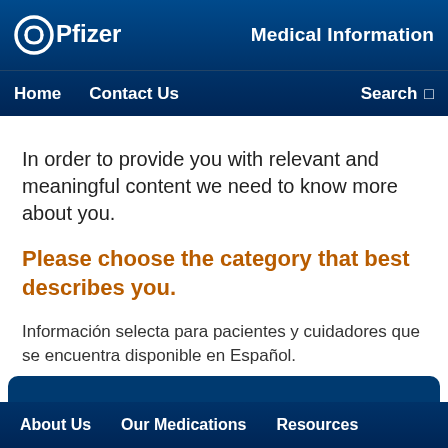Pfizer Medical Information — Home | Contact Us | Search
In order to provide you with relevant and meaningful content we need to know more about you.
Please choose the category that best describes you.
Información selecta para pacientes y cuidadores que se encuentra disponible en Español.
About Us   Our Medications   Resources